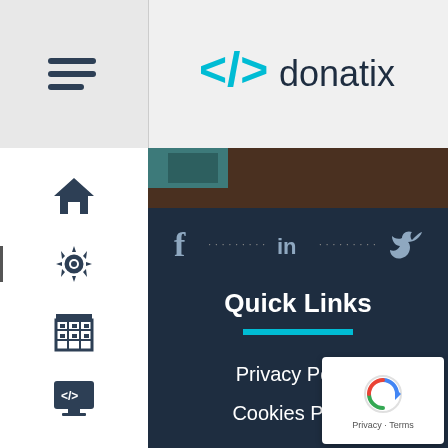[Figure (logo): Donatix logo with code bracket icon and text 'donatix' in dark with cyan brackets]
[Figure (screenshot): Website footer screenshot showing navigation sidebar with icons (home, settings, building, code monitor, article, contact), social media icons (Facebook, LinkedIn, Twitter), Quick Links section with Privacy Policy and Cookies Policy links, and reCAPTCHA badge]
Quick Links
Privacy Policy
Cookies Policy